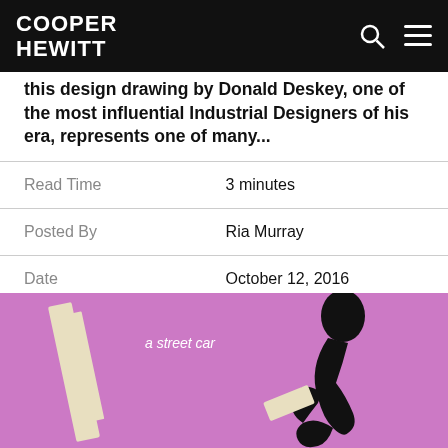COOPER HEWITT
this design drawing by Donald Deskey, one of the most influential Industrial Designers of his era, represents one of many...
| Read Time | 3 minutes |
| Posted By | Ria Murray |
| Date | October 12, 2016 |
[Figure (illustration): Pink background illustration showing a stylized black abstract shape (streetcar design sketch) with text 'a street car' and diagonal cream/white elements on the left side]